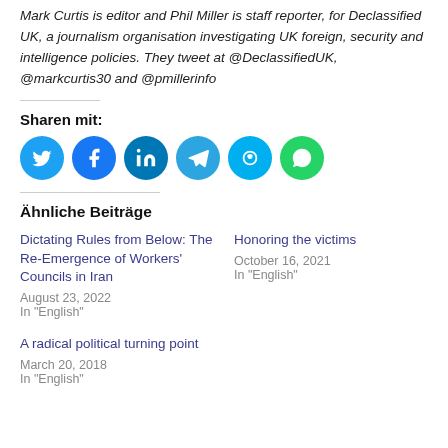Mark Curtis is editor and Phil Miller is staff reporter, for Declassified UK, a journalism organisation investigating UK foreign, security and intelligence policies. They tweet at @DeclassifiedUK, @markcurtis30 and @pmillerinfo
Sharen mit:
[Figure (other): Social media sharing icons: Twitter, Facebook, LinkedIn, Telegram, Skype, WhatsApp]
Ähnliche Beiträge
Dictating Rules from Below: The Re-Emergence of Workers' Councils in Iran
August 23, 2022
In "English"
Honoring the victims
October 16, 2021
In "English"
A radical political turning point
March 20, 2018
In "English"